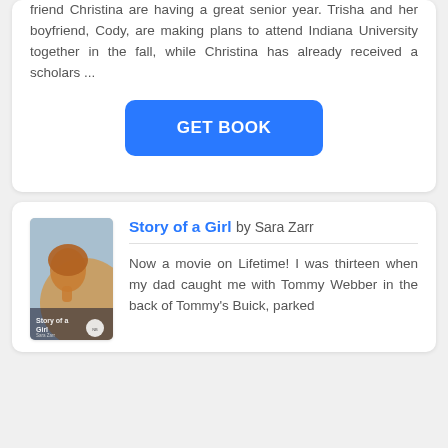friend Christina are having a great senior year. Trisha and her boyfriend, Cody, are making plans to attend Indiana University together in the fall, while Christina has already received a scholars ...
[Figure (other): Blue 'GET BOOK' button]
[Figure (photo): Book cover for 'Story of a Girl' by Sara Zarr showing a girl's face in profile]
Story of a Girl by Sara Zarr
Now a movie on Lifetime! I was thirteen when my dad caught me with Tommy Webber in the back of Tommy's Buick, parked